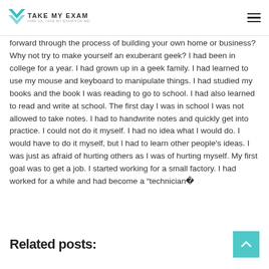TAKE MY EXAM
forward through the process of building your own home or business? Why not try to make yourself an exuberant geek? I had been in college for a year. I had grown up in a geek family. I had learned to use my mouse and keyboard to manipulate things. I had studied my books and the book I was reading to go to school. I had also learned to read and write at school. The first day I was in school I was not allowed to take notes. I had to handwrite notes and quickly get into practice. I could not do it myself. I had no idea what I would do. I would have to do it myself, but I had to learn other people's ideas. I was just as afraid of hurting others as I was of hurting myself. My first goal was to get a job. I started working for a small factory. I had worked for a while and had become a “technician�
Related posts: